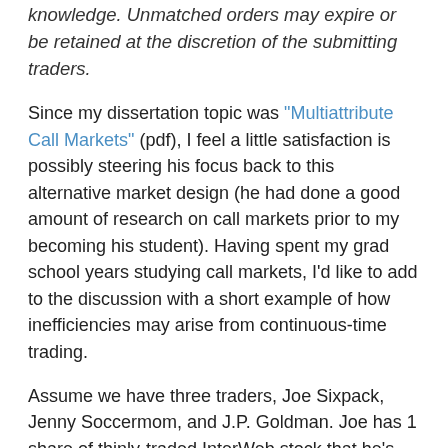knowledge. Unmatched orders may expire or be retained at the discretion of the submitting traders.
Since my dissertation topic was "Multiattribute Call Markets" (pdf), I feel a little satisfaction is possibly steering his focus back to this alternative market design (he had done a good amount of research on call markets prior to my becoming his student). Having spent my grad school years studying call markets, I'd like to add to the discussion with a short example of how inefficiencies may arise from continuous-time trading.
Assume we have three traders, Joe Sixpack, Jenny Soccermom, and J.P. Goldman. Joe has 1 share of thinly-traded InterWeb stock that he's looking to sell, and Jenny is looking to buy one share of InterWeb. Joe is willing to sell for anything over $1, while Jenny is willing to pay as much as $20. Joe and Jenny aren't savvy